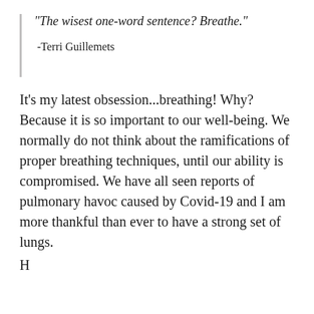“The wisest one-word sentence? Breathe.”
-Terri Guillemets
It’s my latest obsession...breathing! Why? Because it is so important to our well-being. We normally do not think about the ramifications of proper breathing techniques, until our ability is compromised. We have all seen reports of pulmonary havoc caused by Covid-19 and I am more thankful than ever to have a strong set of lungs.
H...